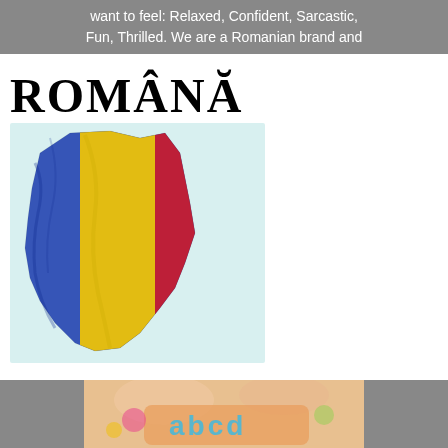want to feel: Relaxed, Confident, Sarcastic, Fun, Thrilled. We are a Romanian brand and
[Figure (illustration): Large bold text 'ROMÂNĂ' above a stylized map of Romania filled with the Romanian flag colors: blue, yellow, and red on a light blue/white background.]
[Figure (photo): Bottom portion showing a photo of what appears to be a child holding a sign with decorative text, partially visible.]